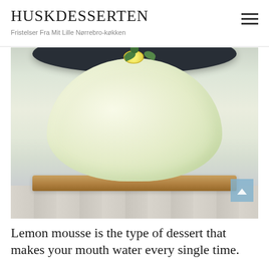HUSKDESSERTEN — Fristelser Fra Mit Lille Nørrebro-køkken
[Figure (photo): A dome-shaped pale green lemon mousse dessert sitting on a biscuit/cracker crust, garnished on top with a lemon slice and fresh herb leaves, displayed in front of a dark ribbed ceramic plate, photographed on a whitewashed wood surface. A light blue scroll-to-top button with an upward chevron is visible in the bottom-right corner of the image.]
Lemon mousse is the type of dessert that makes your mouth water every single time.